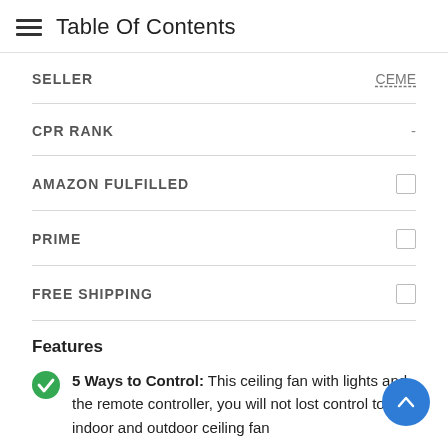Table Of Contents
| Field | Value |
| --- | --- |
| SELLER | CEME |
| CPR RANK | - |
| AMAZON FULFILLED | ☐ |
| PRIME | ☐ |
| FREE SHIPPING | ☐ |
Features
5 Ways to Control: This ceiling fan with lights and the remote controller, you will not lost control to the indoor and outdoor ceiling fan